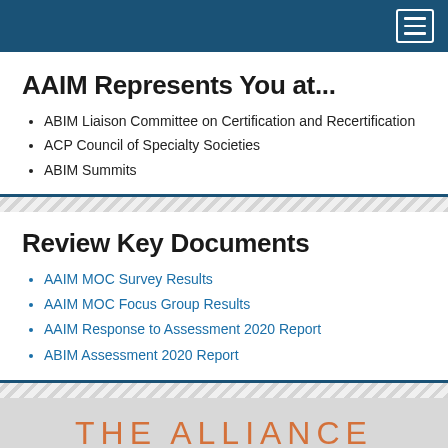Navigation bar with hamburger menu
AAIM Represents You at...
ABIM Liaison Committee on Certification and Recertification
ACP Council of Specialty Societies
ABIM Summits
Review Key Documents
AAIM MOC Survey Results
AAIM MOC Focus Group Results
AAIM Response to Assessment 2020 Report
ABIM Assessment 2020 Report
THE ALLIANCE